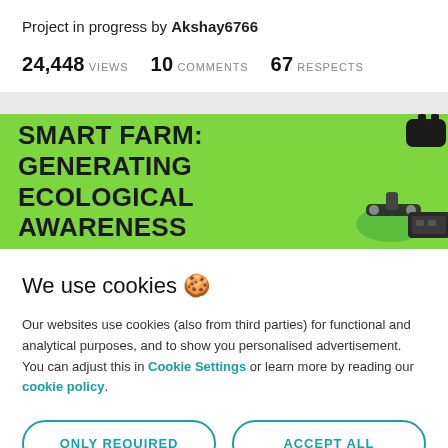Project in progress by Akshay6766
24,448 VIEWS   10 COMMENTS   67 RESPECTS
[Figure (illustration): Banner image with bright green background and bold black text reading SMART FARM: GENERATING ECOLOGICAL AWARENESS, with farming tool icons on the right side]
We use cookies 🍪
Our websites use cookies (also from third parties) for functional and analytical purposes, and to show you personalised advertisement. You can adjust this in Cookie Settings or learn more by reading our cookie policy.
ONLY REQUIRED
ACCEPT ALL